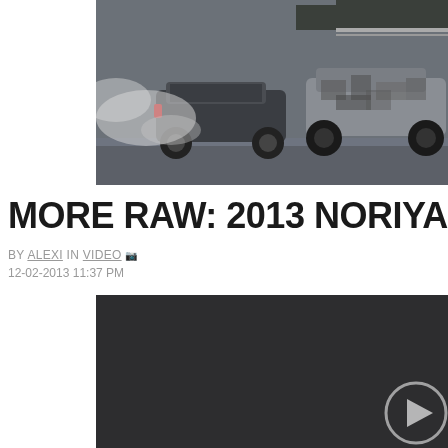[Figure (photo): Two drift cars on a racing circuit with smoke coming from the tires. One car has a camouflage/circuit-board wrap pattern. Dark treeline in background.]
MORE RAW: 2013 NORIYARO
BY ALEXI IN VIDEO 📷
12-02-2013 11:37 PM
[Figure (screenshot): Dark video player embed with a circular play button in the lower right corner]